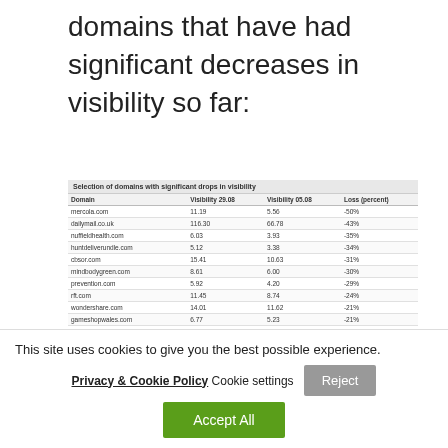domains that have had significant decreases in visibility so far:
| Domain | Visibility 29.08 | Visibility 05.08 | Loss (percent) |
| --- | --- | --- | --- |
| mercola.com | 11.19 | 5.56 | -50% |
| dailymail.co.uk | 116.30 | 66.78 | -43% |
| nuffield health.com | 6.03 | 3.93 | -35% |
| huntdeliverundle.com | 5.12 | 3.38 | -34% |
| cbsor.com | 15.41 | 10.63 | -31% |
| mindbodygreen.com | 8.61 | 6.00 | -30% |
| prevention.com | 5.92 | 4.20 | -29% |
| rft.com | 11.45 | 8.74 | -24% |
| wondershare.com | 14.01 | 11.62 | -21% |
| gameshopwales.com | 6.77 | 5.23 | -21% |
| mountainwarehouse.com | 6.29 | 3.63 | -20% |
| loveland.co.uk | 5.55 | 5.10 | -20% |
| findmcgift.co.uk | 7.62 | 6.16 | -19% |
| nintendolife.com | 5.95 | 4.84 | -19% |
| ontraveller.com | 5.32 | 4.34 | -16% |
This site uses cookies to give you the best possible experience.
Privacy & Cookie Policy Cookie settings Reject Accept All